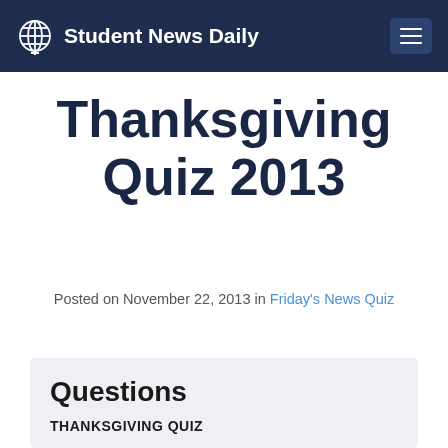Student News Daily
Thanksgiving Quiz 2013
Posted on November 22, 2013 in Friday's News Quiz
Questions
THANKSGIVING QUIZ